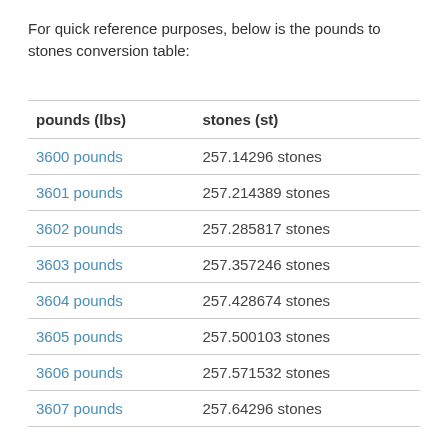For quick reference purposes, below is the pounds to stones conversion table:
| pounds (lbs) | stones (st) |
| --- | --- |
| 3600 pounds | 257.14296 stones |
| 3601 pounds | 257.214389 stones |
| 3602 pounds | 257.285817 stones |
| 3603 pounds | 257.357246 stones |
| 3604 pounds | 257.428674 stones |
| 3605 pounds | 257.500103 stones |
| 3606 pounds | 257.571532 stones |
| 3607 pounds | 257.64296 stones |